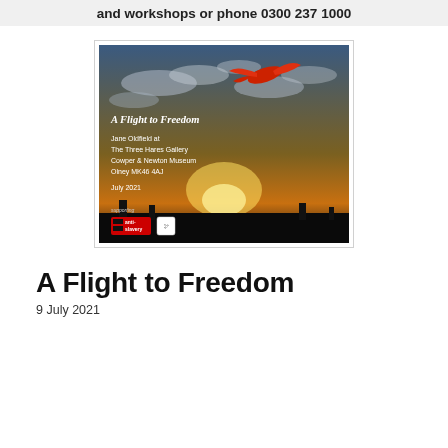and workshops or phone 0300 237 1000
[Figure (illustration): Book/exhibition poster for 'A Flight to Freedom' by Jane Oldfield at The Three Hares Gallery, Cowper & Newton Museum, Olney MK46 4AJ, July 2021. Features a dramatic sunset sky with clouds and a red bird/dove silhouette. Bottom shows 'anti-slavery' logo with red and black branding.]
A Flight to Freedom
9 July 2021